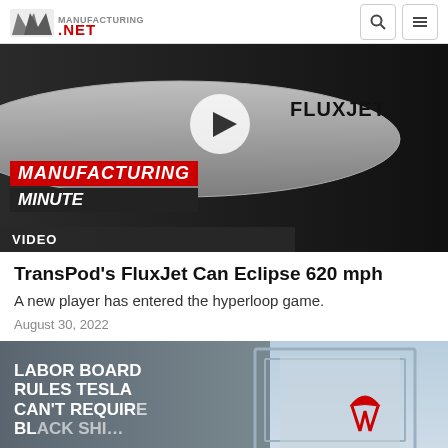Manufacturing.NET
[Figure (screenshot): Video thumbnail showing FluxJet hyperloop vehicle with Manufacturing Minute branding, play button overlay, and VIDEO label bar]
VIDEO
TransPod's FluxJet Can Eclipse 620 mph
A new player has entered the hyperloop game.
August 30, 2022
[Figure (photo): Photo showing Labor Board Rules Tesla Can't Require... text overlay on building exterior with person wearing Tesla shirt]